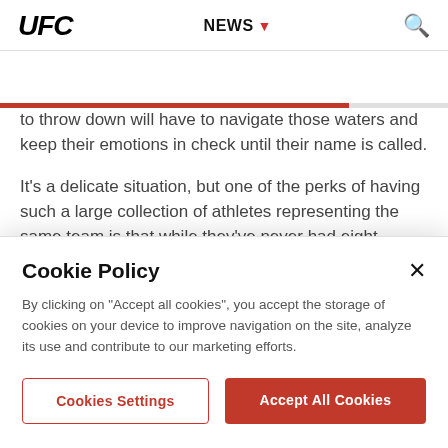UFC  NEWS
to throw down will have to navigate those waters and keep their emotions in check until their name is called.
It's a delicate situation, but one of the perks of having such a large collection of athletes representing the same team is that while they've never had eight fighters competing on the same card at this level, American Top Team has been down this road before and the coaches will have them primed to handle
Cookie Policy
By clicking on "Accept all cookies", you accept the storage of cookies on your device to improve navigation on the site, analyze its use and contribute to our marketing efforts.
Cookies Settings
Accept All Cookies